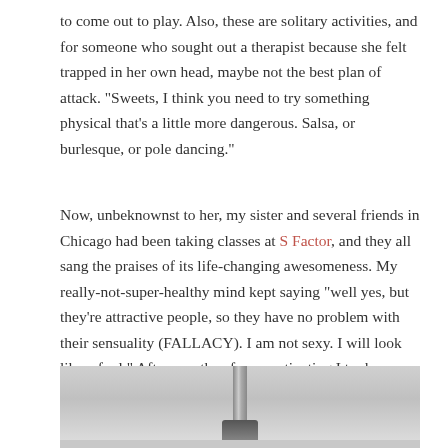to come out to play. Also, these are solitary activities, and for someone who sought out a therapist because she felt trapped in her own head, maybe not the best plan of attack. “Sweets, I think you need to try something physical that’s a little more dangerous. Salsa, or burlesque, or pole dancing.”
Now, unbeknownst to her, my sister and several friends in Chicago had been taking classes at S Factor, and they all sang the praises of its life-changing awesomeness. My really-not-super-healthy mind kept saying “well yes, but they’re attractive people, so they have no problem with their sensuality (FALLACY). I am not sexy. I will look like a fool.” After months of procrastinating I took my first intro class. And after the class I walked up to the front counter, handed over my credit card, and said “Sign me up, and when do I get my stripper shoes?”
[Figure (photo): Partial photo of a pole dancing pole/base at the bottom of the page]